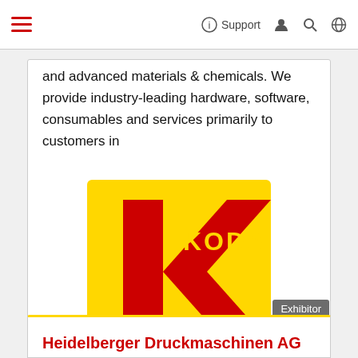Support
and advanced materials & chemicals. We provide industry-leading hardware, software, consumables and services primarily to customers in
[Figure (logo): Kodak logo — yellow square background with red K chevron mark and KODAK text in yellow letters]
Exhibitor
Heidelberger Druckmaschinen AG